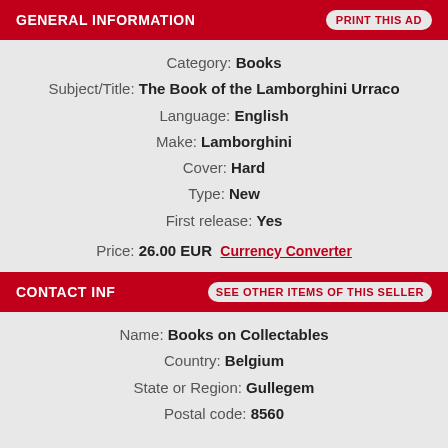GENERAL INFORMATION
Category: Books
Subject/Title: The Book of the Lamborghini Urraco
Language: English
Make: Lamborghini
Cover: Hard
Type: New
First release: Yes
Price: 26.00 EUR  Currency Converter
CONTACT INFORMATION  SEE OTHER ITEMS OF THIS SELLER
Name: Books on Collectables
Country: Belgium
State or Region: Gullegem
Postal code: 8560